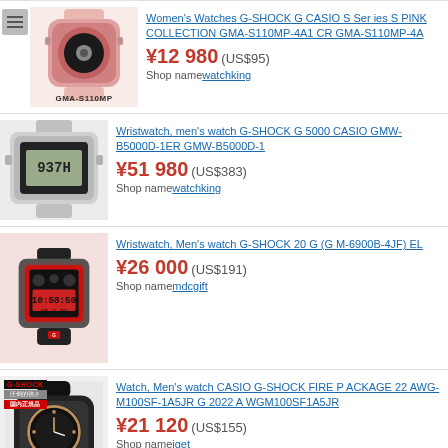Women's Watches G-SHOCK G CASIO S Series S PINK COLLECTION GMA-S110MP-4A1 CR GMA-S110MP-4A | ¥12 980 (US$95) | Shop name watchking
Wristwatch, men's watch G-SHOCK G 5000 CASIO GMW-B5000D-1ER GMW-B5000D-1 | ¥51 980 (US$383) | Shop name watchking
Wristwatch, Men's watch G-SHOCK 20 G (GM-6900B-4JF) EL | ¥26 000 (US$191) | Shop name mdcgift
Watch, Men's watch CASIO G-SHOCK FIRE PACKAGE 22 AWG-M100SF-1A5JR G 2022 AWG M100SF1A5JR | ¥21 120 (US$155) | Shop name jget